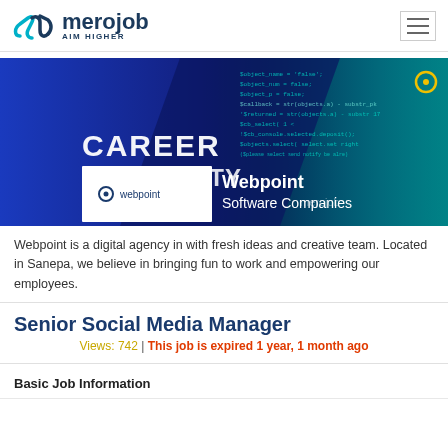merojob AIM HIGHER
[Figure (screenshot): Career opportunity banner with Webpoint logo and coding background. Shows 'CAREER OPPORTUNITY' text, Webpoint logo, and text 'Webpoint Software Companies'.]
Webpoint is a digital agency in with fresh ideas and creative team. Located in Sanepa, we believe in bringing fun to work and empowering our employees.
Senior Social Media Manager
Views: 742 | This job is expired 1 year, 1 month ago
Basic Job Information